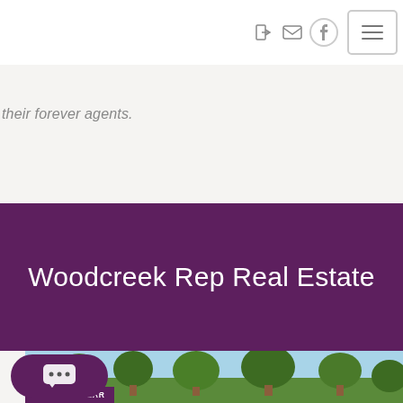nav icons and hamburger menu
their forever agents.
Woodcreek Rep Real Estate
[Figure (screenshot): Bottom portion showing a chat bubble button, a property thumbnail with trees and blue sky, and a 'MOST POPULAR' badge in purple]
MOST POPULAR